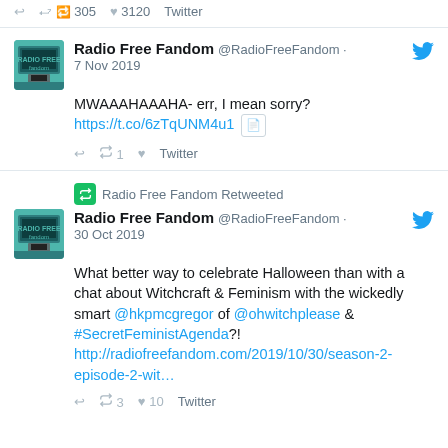↩ 🔁 305 ♥ 3120 Twitter
Radio Free Fandom @RadioFreeFandom · 7 Nov 2019
MWAAAHAAAHA- err, I mean sorry?
https://t.co/6zTqUNM4u1
↩ 🔁1 ♥ Twitter
Radio Free Fandom Retweeted
Radio Free Fandom @RadioFreeFandom · 30 Oct 2019
What better way to celebrate Halloween than with a chat about Witchcraft & Feminism with the wickedly smart @hkpmcgregor of @ohwitchplease & #SecretFeministAgenda?!
http://radiofreefandom.com/2019/10/30/season-2-episode-2-wit…
↩ 🔁3 ♥ 10 Twitter